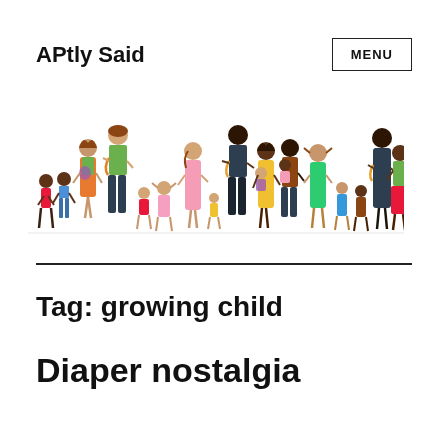APtly Said
[Figure (illustration): A row of illustrated diverse adults, parents with babies, and children of various ages and ethnicities, depicted in a colorful cartoon style.]
Tag: growing child
Diaper nostalgia